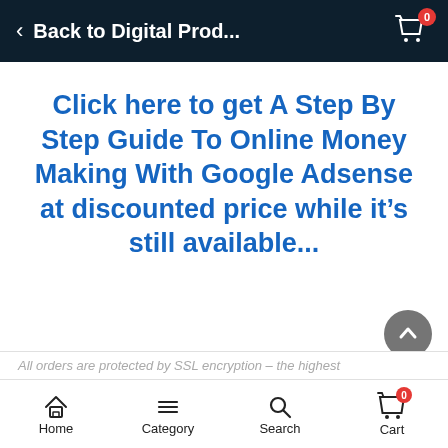Back to Digital Prod...
Click here to get A Step By Step Guide To Online Money Making With Google Adsense at discounted price while it’s still available...
All orders are protected by SSL encryption – the highest
Home  Category  Search  Cart